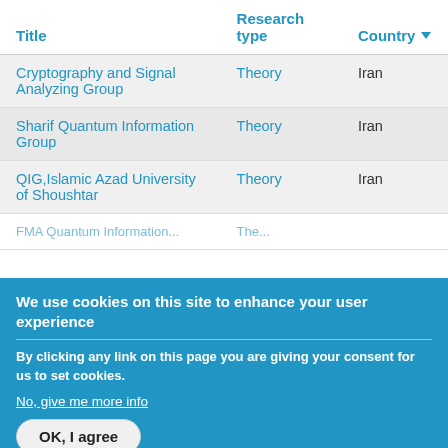| Title | Research type | Country |
| --- | --- | --- |
| Cryptography and Signal Analyzing Group | Theory | Iran |
| Sharif Quantum Information Group | Theory | Iran |
| QIG,Islamic Azad University of Shoushtar | Theory | Iran |
| FMA Quantum Information... | Theory | ... |
We use cookies on this site to enhance your user experience
By clicking any link on this page you are giving your consent for us to set cookies.
No, give me more info
OK, I agree